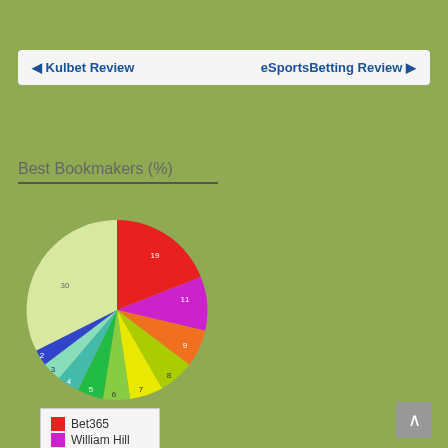◄ Kulbet Review    eSportsBetting Review ►
Best Bookmakers (%)
[Figure (pie-chart): Best Bookmakers (%)]
Best Bookmakers (%) pie chart
Bet365
William Hill
BetVictor